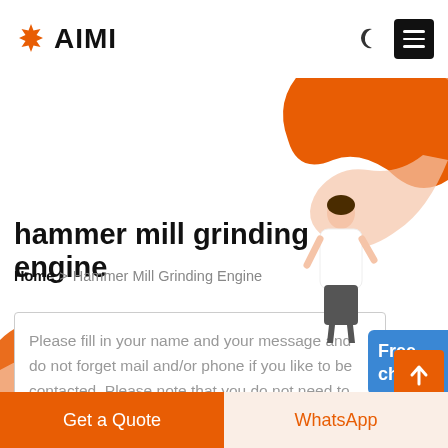AIMI
[Figure (illustration): Orange organic blob shape in top-right corner of page header background]
hammer mill grinding engine
Home > Hammer Mill Grinding Engine
[Figure (illustration): Female customer service representative illustration next to Free chat button]
Free chat
[Figure (illustration): Orange organic blob shape in lower-left background]
Please fill in your name and your message and do not forget mail and/or phone if you like to be contacted. Please note that you do not need to have
Get a Quote
WhatsApp